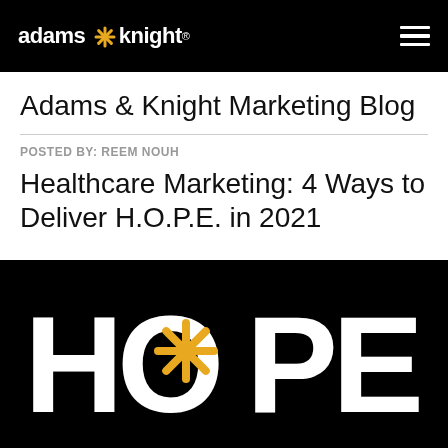adams * knight®
Adams & Knight Marketing Blog
POSTED BY: REEM NOUH
Healthcare Marketing: 4 Ways to Deliver H.O.P.E. in 2021
[Figure (illustration): Black background with large white letters spelling HOPE, where the O is replaced by a circle containing a yellow/gold asterisk/snowflake symbol — the Adams & Knight logo star motif]